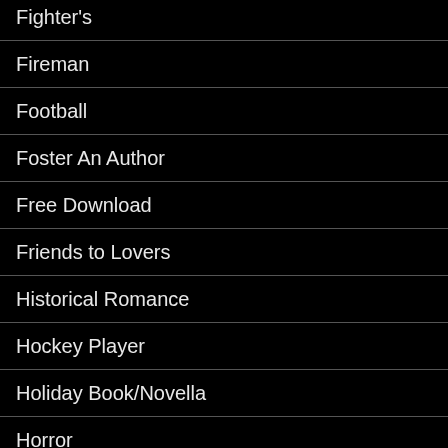Fighter's
Fireman
Football
Foster An Author
Free Download
Friends to Lovers
Historical Romance
Hockey Player
Holiday Book/Novella
Horror
Indie Unmaksed Author
Indy Author Event
Insta-Love